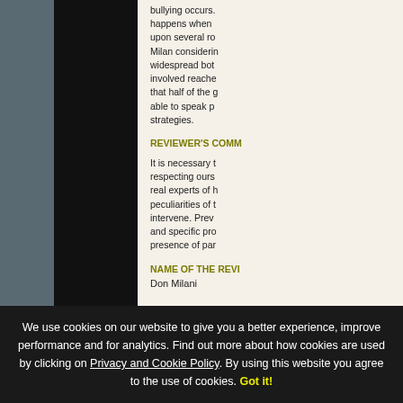[Figure (photo): Large dark/black image area on the left side of the page, partially cropped]
bullying occurs. happens when upon several ro Milan considerin widespread bot involved reache that half of the g able to speak p strategies.
REVIEWER'S COMM
It is necessary t respecting ours real experts of h peculiarities of t intervene. Prev and specific pro presence of par
NAME OF THE REVI
Don Milani
We use cookies on our website to give you a better experience, improve performance and for analytics. Find out more about how cookies are used by clicking on Privacy and Cookie Policy. By using this website you agree to the use of cookies. Got it!